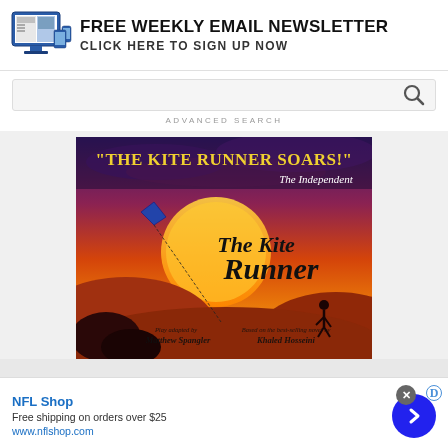[Figure (infographic): Newsletter banner with computer/device icon on left and bold text FREE WEEKLY EMAIL NEWSLETTER / CLICK HERE TO SIGN UP NOW]
[Figure (screenshot): Search bar with magnifying glass icon and ADVANCED SEARCH text below]
[Figure (illustration): The Kite Runner theatrical poster with orange/red sunset background, kite silhouette, large stylized title text, quote THE KITE RUNNER SOARS! from The Independent, and credits for Matthew Spangler and Khaled Hosseini]
NFL Shop
Free shipping on orders over $25
www.nflshop.com